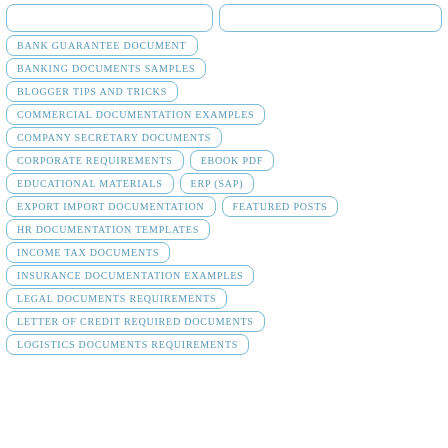BANK GUARANTEE DOCUMENT
BANKING DOCUMENTS SAMPLES
BLOGGER TIPS AND TRICKS
COMMERCIAL DOCUMENTATION EXAMPLES
COMPANY SECRETARY DOCUMENTS
CORPORATE REQUIREMENTS
EBOOK PDF
EDUCATIONAL MATERIALS
ERP (SAP)
EXPORT IMPORT DOCUMENTATION
FEATURED POSTS
HR DOCUMENTATION TEMPLATES
INCOME TAX DOCUMENTS
INSURANCE DOCUMENTATION EXAMPLES
LEGAL DOCUMENTS REQUIREMENTS
LETTER OF CREDIT REQUIRED DOCUMENTS
LOGISTICS DOCUMENTS REQUIREMENTS